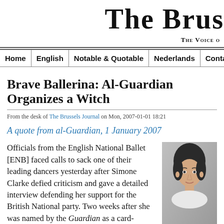The Brus
The Voice o
| Home | English | Notable & Quotable | Nederlands | Conta |
| --- | --- | --- | --- | --- |
Brave Ballerina: Al-Guardian Organizes a Witch
From the desk of The Brussels Journal on Mon, 2007-01-01 18:21
A quote from al-Guardian, 1 January 2007
Officials from the English National Ballet [ENB] faced calls to sack one of their leading dancers yesterday after Simone Clarke defied criticism and gave a detailed interview defending her support for the British National party. Two weeks after she was named by the Guardian as a card-carrying member of the far right
[Figure (photo): Black and white photo of a woman (Simone Clarke), cropped headshot]